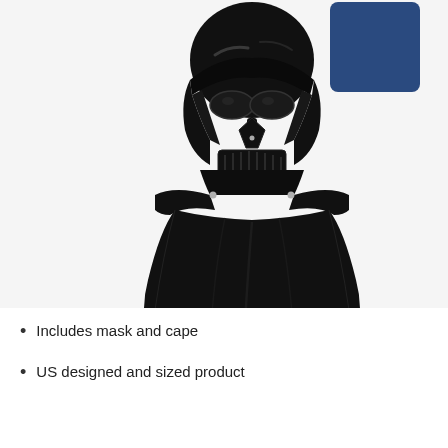[Figure (photo): Darth Vader costume set showing a black helmet/mask with shiny plastic finish and a black cape/cloak, displayed against a white background with a small blue square product card visible at the top behind the helmet.]
Includes mask and cape
US designed and sized product